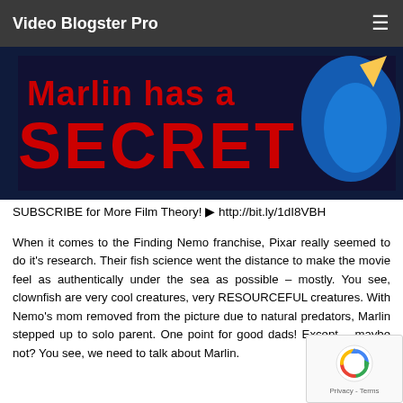Video Blogster Pro
[Figure (photo): Thumbnail image from Finding Nemo video with red text 'Marlin has a SECRET' on dark background with blue fish silhouette]
SUBSCRIBE for More Film Theory! ▶ http://bit.ly/1dI8VBH
When it comes to the Finding Nemo franchise, Pixar really seemed to do it's research. Their fish science went the distance to make the movie feel as authentically under the sea as possible – mostly. You see, clownfish are very cool creatures, very RESOURCEFUL creatures. With Nemo's mom removed from the picture due to natural predators, Marlin stepped up to solo parent. One point for good dads! Except… maybe not? You see, we need to talk about Marlin.
[Figure (other): Google reCAPTCHA badge with spinning arrows logo and Privacy - Terms text]